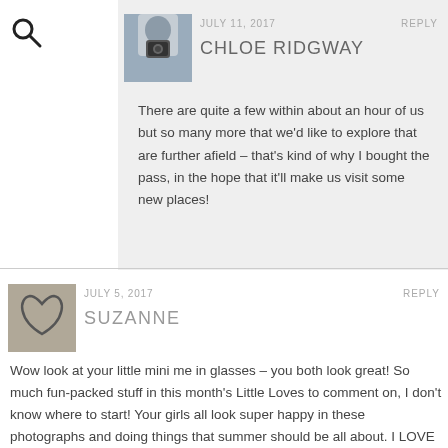[Figure (photo): Search icon (magnifying glass) in top left corner]
[Figure (photo): Hamburger menu icon in top right corner inside a circular button]
[Figure (photo): Avatar photo of Chloe Ridgway - person holding camera covering face]
JULY 11, 2017
REPLY
CHLOE RIDGWAY
There are quite a few within about an hour of us but so many more that we'd like to explore that are further afield – that's kind of why I bought the pass, in the hope that it'll make us visit some new places!
[Figure (photo): Avatar photo of Suzanne - heart drawn in sand]
JULY 5, 2017
REPLY
SUZANNE
Wow look at your little mini me in glasses – you both look great! So much fun-packed stuff in this month's Little Loves to comment on, I don't know where to start! Your girls all look super happy in these photographs and doing things that summer should be all about. I LOVE the fact that your daughter found a book that made her well up and get 'lost' in… just how books